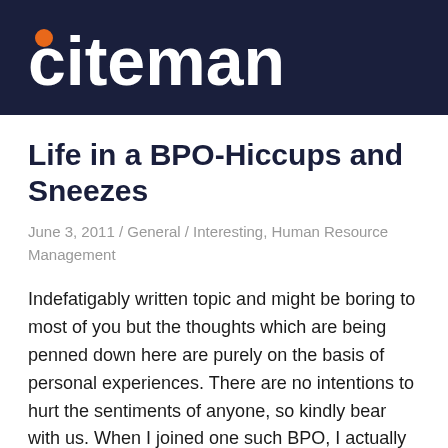citeman
Life in a BPO-Hiccups and Sneezes
June 3, 2011 / General / Interesting, Human Resource Management
Indefatigably written topic and might be boring to most of you but the thoughts which are being penned down here are purely on the basis of personal experiences. There are no intentions to hurt the sentiments of anyone, so kindly bear with us. When I joined one such BPO, I actually looked at the big picture, challenges of handling a huge workforce,